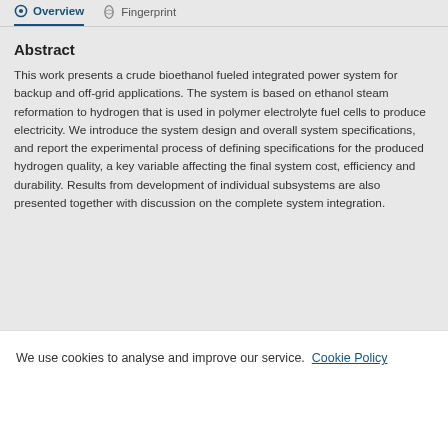Overview  Fingerprint
Abstract
This work presents a crude bioethanol fueled integrated power system for backup and off-grid applications. The system is based on ethanol steam reformation to hydrogen that is used in polymer electrolyte fuel cells to produce electricity. We introduce the system design and overall system specifications, and report the experimental process of defining specifications for the produced hydrogen quality, a key variable affecting the final system cost, efficiency and durability. Results from development of individual subsystems are also presented together with discussion on the complete system integration.
We use cookies to analyse and improve our service. Cookie Policy